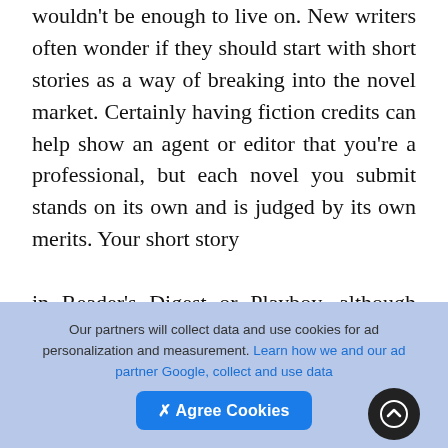wouldn't be enough to live on. New writers often wonder if they should start with short stories as a way of breaking into the novel market. Certainly having fiction credits can help show an agent or editor that you're a professional, but each novel you submit stands on its own and is judged by its own merits. Your short story

in Reader's Digest or Playboy, although wonderful clips to have, is not a guarantee of success with novels. If writing short stories or poetry is what you love to do, then by all means go for it. But as making a career of it, well, there's an express the writing world that applies here: Don't give up your day job just yet.
Our partners will collect data and use cookies for ad personalization and measurement. Learn how we and our ad partner Google, collect and use data